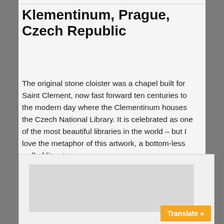Klementinum, Prague, Czech Republic
The original stone cloister was a chapel built for Saint Clement, now fast forward ten centuries to the modern day where the Clementinum houses the Czech National Library. It is celebrated as one of the most beautiful libraries in the world – but I love the metaphor of this artwork, a bottom-less well of literature.
[Figure (photo): Partially visible photograph or image panel at bottom of page with a Translate button overlay]